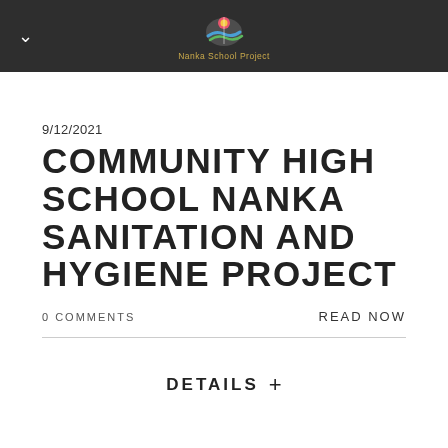Nanka School Project
9/12/2021
COMMUNITY HIGH SCHOOL NANKA SANITATION AND HYGIENE PROJECT
0 COMMENTS
READ NOW
DETAILS +